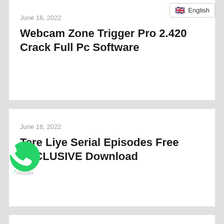🇬🇧 English
June 16, 2022
Webcam Zone Trigger Pro 2.420 Crack Full Pc Software
June 16, 2022
Tere Liye Serial Episodes Free EXCLUSIVE Download
[Figure (logo): WhatsApp green circular icon with white phone handset]